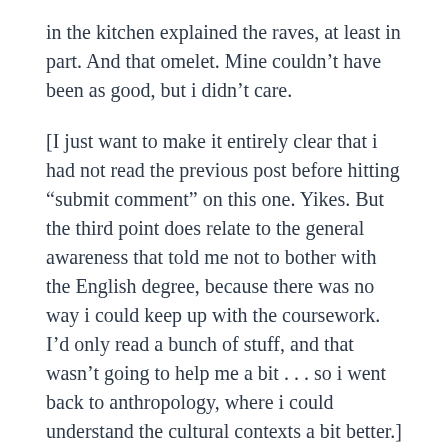in the kitchen explained the raves, at least in part. And that omelet. Mine couldn't have been as good, but i didn't care.
[I just want to make it entirely clear that i had not read the previous post before hitting “submit comment” on this one. Yikes. But the third point does relate to the general awareness that told me not to bother with the English degree, because there was no way i could keep up with the coursework. I’d only read a bunch of stuff, and that wasn’t going to help me a bit . . . so i went back to anthropology, where i could understand the cultural contexts a bit better.]